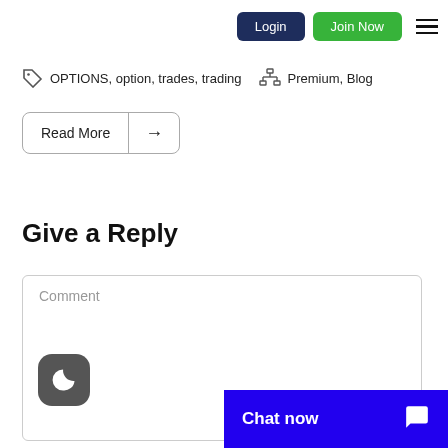Login  Join Now
OPTIONS, option, trades, trading   Premium, Blog
Read More →
Give a Reply
Comment
Chat now